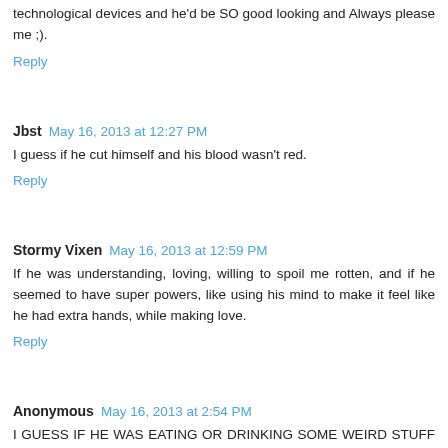technological devices and he'd be SO good looking and Always please me ;).
Reply
Jbst  May 16, 2013 at 12:27 PM
I guess if he cut himself and his blood wasn't red.
Reply
Stormy Vixen  May 16, 2013 at 12:59 PM
If he was understanding, loving, willing to spoil me rotten, and if he seemed to have super powers, like using his mind to make it feel like he had extra hands, while making love.
Reply
Anonymous  May 16, 2013 at 2:54 PM
I GUESS IF HE WAS EATING OR DRINKING SOME WEIRD STUFF THANKS FOR THE GIVEAWAY! SHELLEY